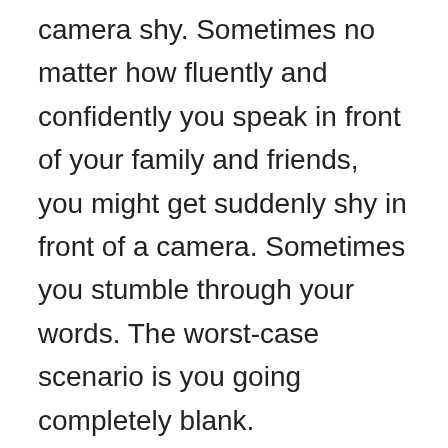camera shy. Sometimes no matter how fluently and confidently you speak in front of your family and friends, you might get suddenly shy in front of a camera. Sometimes you stumble through your words. The worst-case scenario is you going completely blank.
Sometimes improvisations go completely wrong. You say something totally opposite or inappropriate before your audience. These mishaps don't